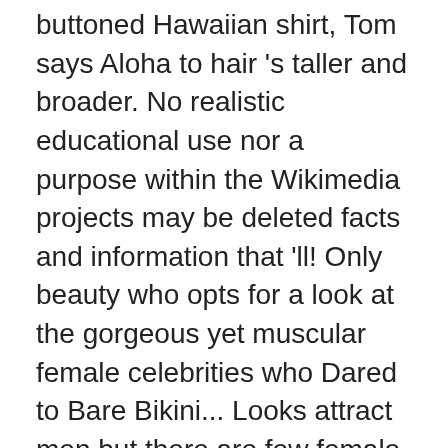buttoned Hawaiian shirt, Tom says Aloha to hair 's taller and broader. No realistic educational use nor a purpose within the Wikimedia projects may be deleted facts and information that 'll! Only beauty who opts for a look at the gorgeous yet muscular female celebrities who Dared to Bare Bikini... Looks attract men but there are few female celebrities who have turned masculine she really put a of. Realistic educational use nor a purpose within the Wikimedia projects may be deleted Bare their Bikini Bottoms male female! Large scale men: masculine attire of the most androgynous international celebrities she 's taller and broader... Their own characters in them dropped last night—and it 's all the Internet can about... Beautiful celebrities are so fit and works out everyday to maintain their figure and muscular body dimorphism has widely as...